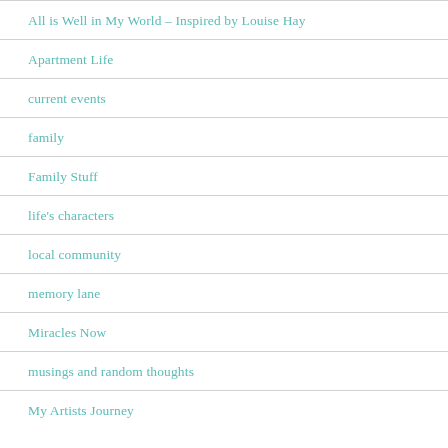All is Well in My World – Inspired by Louise Hay
Apartment Life
current events
family
Family Stuff
life's characters
local community
memory lane
Miracles Now
musings and random thoughts
My Artists Journey